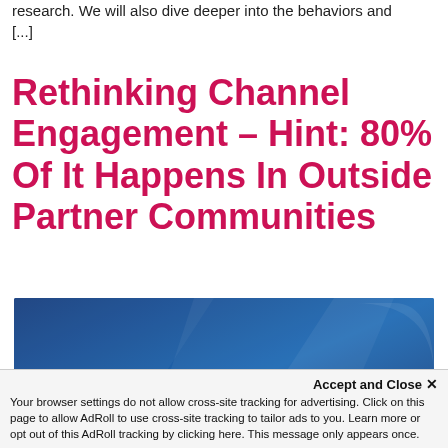research. We will also dive deeper into the behaviors and [...]
Rethinking Channel Engagement – Hint: 80% Of It Happens In Outside Partner Communities
[Figure (illustration): Dark blue gradient banner image with bold white text reading 'ChannelWeek' and decorative angular shapes in background]
Accept and Close ✕
Your browser settings do not allow cross-site tracking for advertising. Click on this page to allow AdRoll to use cross-site tracking to tailor ads to you. Learn more or opt out of this AdRoll tracking by clicking here. This message only appears once.